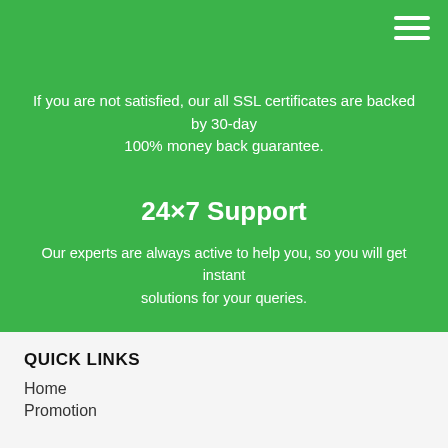If you are not satisfied, our all SSL certificates are backed by 30-day 100% money back guarantee.
24×7 Support
Our experts are always active to help you, so you will get instant solutions for your queries.
QUICK LINKS
Home
Promotion